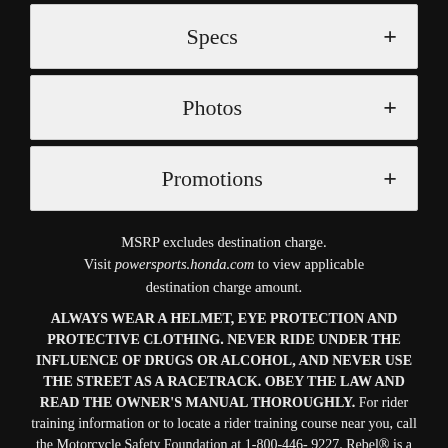Specs +
Photos +
Promotions +
MSRP excludes destination charge. Visit powersports.honda.com to view applicable destination charge amount.
ALWAYS WEAR A HELMET, EYE PROTECTION AND PROTECTIVE CLOTHING. NEVER RIDE UNDER THE INFLUENCE OF DRUGS OR ALCOHOL, AND NEVER USE THE STREET AS A RACETRACK. OBEY THE LAW AND READ THE OWNER'S MANUAL THOROUGHLY. For rider training information or to locate a rider training course near you, call the Motorcycle Safety Foundation at 1-800-446-9227. Rebel® is a registered trademark of Honda Motor